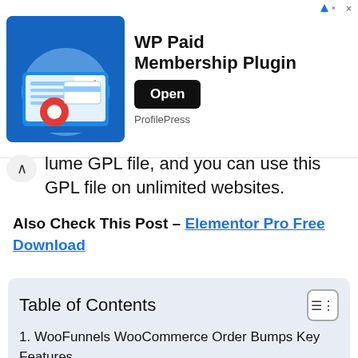[Figure (other): Advertisement banner for WP Paid Membership Plugin by ProfilePress with an Open button and a laptop/cart illustration]
lume GPL file, and you can use this GPL file on unlimited websites.
Also Check This Post – Elementor Pro Free Download
| Table of Contents |
| --- |
| 1. WooFunnels WooCommerce Order Bumps Key Features |
| 2. WooFunnels WooCommerce Order Bumps Documentation |
| 3. WooFunnels WooCommerce Order Bumps Free Download |